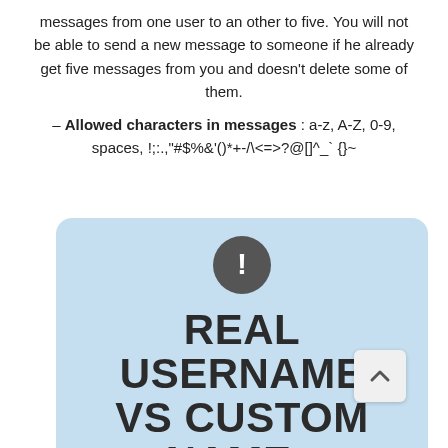messages from one user to an other to five. You will not be able to send a new message to someone if he already get five messages from you and doesn't delete some of them.
– Allowed characters in messages : a-z, A-Z, 0-9, spaces, !;:.,"#$%&'()*+-/\<=>?@[]^_` {}~
[Figure (infographic): Light blue rounded box containing a dark grey warning circle with exclamation mark, and large bold text reading 'REAL USERNAME VS CUSTOM NAME :' partially visible]